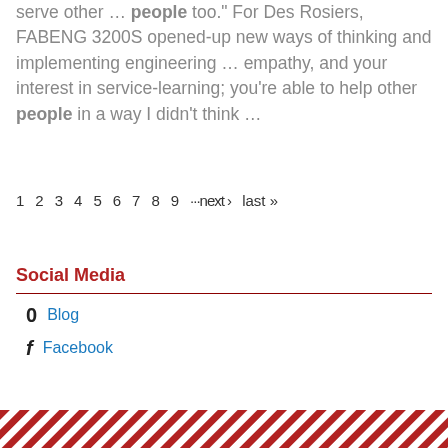serve other ... people too.” For Des Rosiers, FABENG 3200S opened-up new ways of thinking and implementing engineering ... empathy, and your interest in service-learning; you’re able to help other people in a way I didn’t think ...
1 2 3 4 5 6 7 8 9 ···next › last »
Social Media
Blog
Facebook